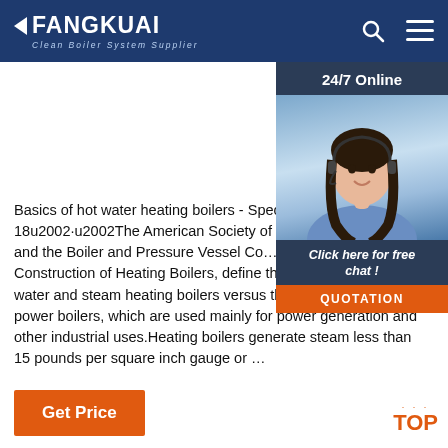FANGKUAI Clean Boiler System Supplier
[Figure (photo): Customer service representative with headset, smiling, with '24/7 Online' banner and 'Click here for free chat!' and 'QUOTATION' button overlay]
Basics of hot water heating boilers - Specifying … 2020-9-18u2002·u2002The American Society of Mechanical Engineers and the Boiler and Pressure Vessel Code, Section IV, Rules for the Construction of Heating Boilers, define the requirements for hot water and steam heating boilers versus the requirement for power boilers, which are used mainly for power generation and other industrial uses.Heating boilers generate steam less than 15 pounds per square inch gauge or …
Get Price